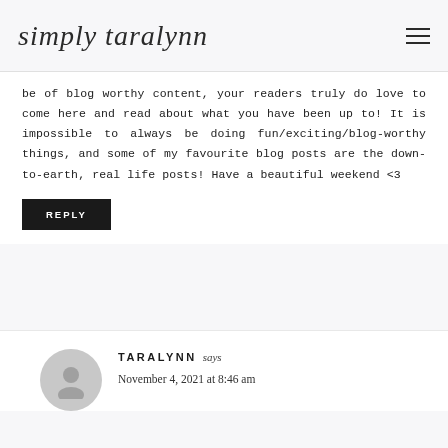simply taralynn
be of blog worthy content, your readers truly do love to come here and read about what you have been up to! It is impossible to always be doing fun/exciting/blog-worthy things, and some of my favourite blog posts are the down-to-earth, real life posts! Have a beautiful weekend <3
REPLY
TARALYNN says
November 4, 2021 at 8:46 am